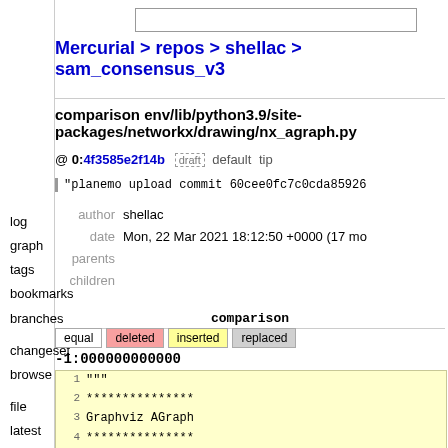Mercurial > repos > shellac > sam_consensus_v3
comparison env/lib/python3.9/site-packages/networkx/drawing/nx_agraph.py @ 0:4f3585e2f14b  draft  default  tip
"planemo upload commit 60cee0fc7c0cda85926..."
author shellac
date Mon, 22 Mar 2021 18:12:50 +0000 (17 mo
parents
children
| equal | deleted | inserted | replaced |
| --- | --- | --- | --- |
-1:000000000000
1  """
2  ***************
3  Graphviz AGraph
4  ***************
5